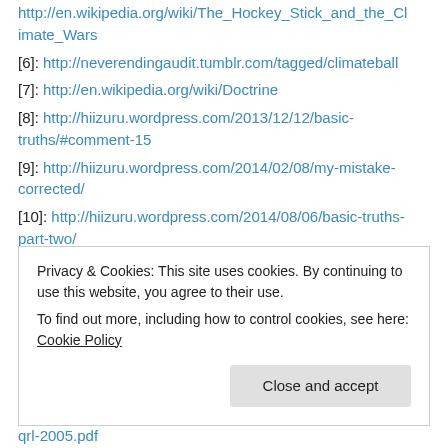http://en.wikipedia.org/wiki/The_Hockey_Stick_and_the_Climate_Wars
[6]: http://neverendingaudit.tumblr.com/tagged/climateball
[7]: http://en.wikipedia.org/wiki/Doctrine
[8]: http://hiizuru.wordpress.com/2013/12/12/basic-truths/#comment-15
[9]: http://hiizuru.wordpress.com/2014/02/08/my-mistake-corrected/
[10]: http://hiizuru.wordpress.com/2014/08/06/basic-truths-part-two/
[11]:
Privacy & Cookies: This site uses cookies. By continuing to use this website, you agree to their use.
To find out more, including how to control cookies, see here: Cookie Policy
qrl-2005.pdf